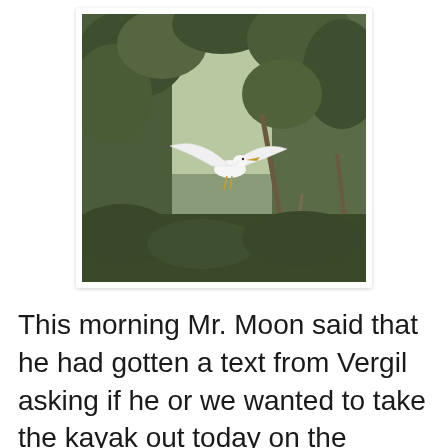[Figure (photo): A great egret in flight with wings spread wide, photographed among dense green trees and bare branches, likely in a swampy or woodland setting.]
This morning Mr. Moon said that he had gotten a text from Vergil asking if he or we wanted to take the kayak out today on the Wacissa. He and the boys were going. Monday's are Jessie's day to get things done while Daddy has the kids